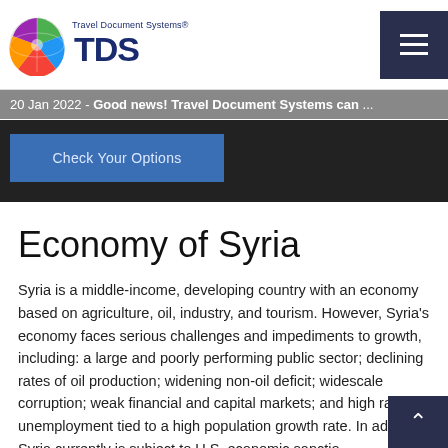Travel Document Systems TDS logo and navigation header
20 Jan 2022 - Good news! Travel Document Systems can ...
[Figure (screenshot): Blue button partially visible with text 'Check Your Options' on dark background banner]
Economy of Syria
Syria is a middle-income, developing country with an economy based on agriculture, oil, industry, and tourism. However, Syria's economy faces serious challenges and impediments to growth, including: a large and poorly performing public sector; declining rates of oil production; widening non-oil deficit; widescale corruption; weak financial and capital markets; and high rates of unemployment tied to a high population growth rate. In addition, Syria currently is subject to U.S. economic sanctio...